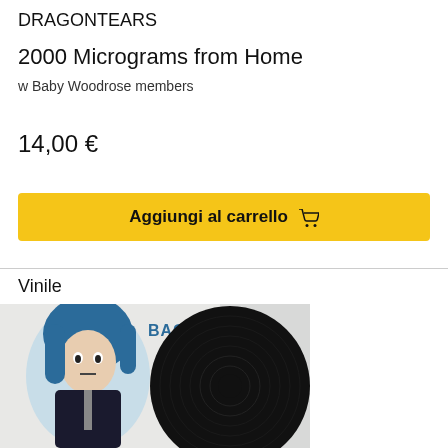DRAGONTEARS
2000 Micrograms from Home
w Baby Woodrose members
14,00 €
Aggiungi al carrello 🛒
Vinile
[Figure (photo): Vinyl record with BACKDOOR label cover art showing a blue-illustrated young woman with dark hair, and a black vinyl record partially visible.]